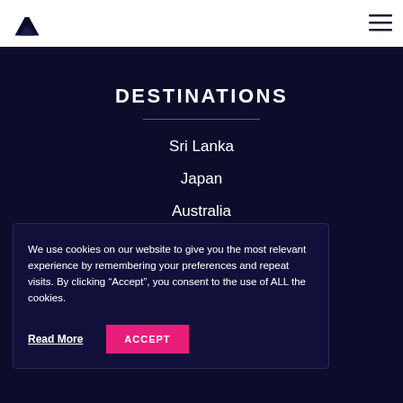Navigation bar with logo and hamburger menu
DESTINATIONS
Sri Lanka
Japan
Australia
We use cookies on our website to give you the most relevant experience by remembering your preferences and repeat visits. By clicking “Accept”, you consent to the use of ALL the cookies.
Read More
ACCEPT